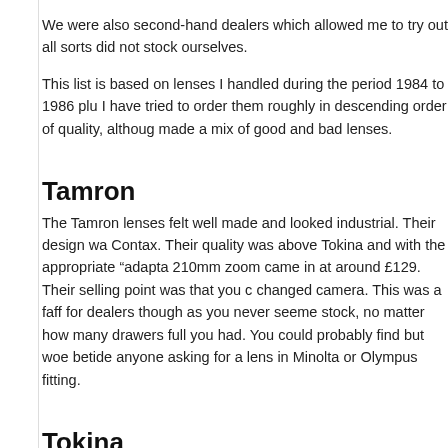We were also second-hand dealers which allowed me to try out all sorts did not stock ourselves.
This list is based on lenses I handled during the period 1984 to 1986 plus I have tried to order them roughly in descending order of quality, although made a mix of good and bad lenses.
Tamron
The Tamron lenses felt well made and looked industrial. Their design wa Contax. Their quality was above Tokina and with the appropriate "adapta 210mm zoom came in at around £129. Their selling point was that you c changed camera. This was a faff for dealers though as you never seeme stock, no matter how many drawers full you had. You could probably find but woe betide anyone asking for a lens in Minolta or Olympus fitting.
Tokina
This was usually the higher end offering at most independent photo deal Telephoto zooms tended to be around the £99 price point and were reas went cheaper than this then image quality usually suffered.